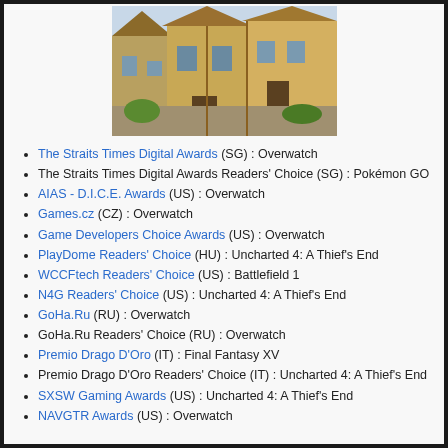[Figure (photo): Screenshot of a colorful fantasy village street scene with medieval-style buildings, likely from a video game such as Overwatch.]
The Straits Times Digital Awards (SG) : Overwatch
The Straits Times Digital Awards Readers' Choice (SG) : Pokémon GO
AIAS - D.I.C.E. Awards (US) : Overwatch
Games.cz (CZ) : Overwatch
Game Developers Choice Awards (US) : Overwatch
PlayDome Readers' Choice (HU) : Uncharted 4: A Thief's End
WCCFtech Readers' Choice (US) : Battlefield 1
N4G Readers' Choice (US) : Uncharted 4: A Thief's End
GoHa.Ru (RU) : Overwatch
GoHa.Ru Readers' Choice (RU) : Overwatch
Premio Drago D'Oro (IT) : Final Fantasy XV
Premio Drago D'Oro Readers' Choice (IT) : Uncharted 4: A Thief's End
SXSW Gaming Awards (US) : Uncharted 4: A Thief's End
NAVGTR Awards (US) : Overwatch